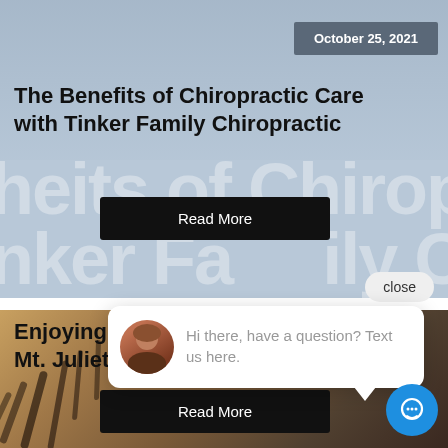[Figure (screenshot): Blog post card with light blue-grey background showing chiropractic care imagery, date badge, title, and read more button]
October 25, 2021
The Benefits of Chiropractic Care with Tinker Family Chiropractic
Read More
close
[Figure (photo): Tiger photo used as background for second blog post card]
Enjoying ... Mt. Juliet, TN
Read More
[Figure (screenshot): Chat popup with avatar photo of woman and text: Hi there, have a question? Text us here.]
Hi there, have a question? Text us here.